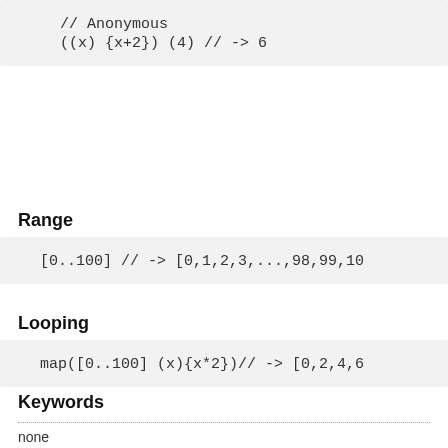// Anonymous
((x) {x+2}) (4) // -> 6
Range
[0..100] // -> [0,1,2,3,...,98,99,10
Looping
map([0..100] (x){x*2})// -> [0,2,4,6
Keywords
none